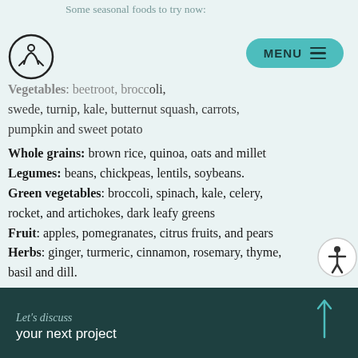Some seasonal foods to try now:
Vegetables: beetroot, broccoli, swede, turnip, kale, butternut squash, carrots, pumpkin and sweet potato
Whole grains: brown rice, quinoa, oats and millet
Legumes: beans, chickpeas, lentils, soybeans.
Green vegetables: broccoli, spinach, kale, celery, rocket, and artichokes, dark leafy greens
Fruit: apples, pomegranates, citrus fruits, and pears
Herbs: ginger, turmeric, cinnamon, rosemary, thyme, basil and dill.
Let's discuss your next project